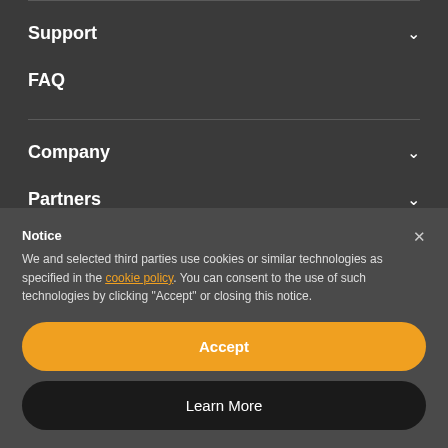Support
FAQ
Company
Partners
Notice
We and selected third parties use cookies or similar technologies as specified in the cookie policy. You can consent to the use of such technologies by clicking "Accept" or closing this notice.
Accept
Learn More